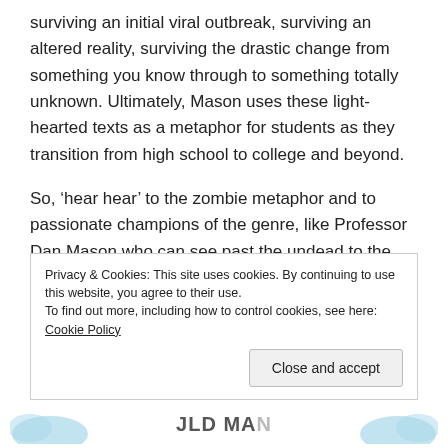surviving an initial viral outbreak, surviving an altered reality, surviving the drastic change from something you know through to something totally unknown. Ultimately, Mason uses these light-hearted texts as a metaphor for students as they transition from high school to college and beyond.
So, ‘hear hear’ to the zombie metaphor and to passionate champions of the genre, like Professor Dan Mason who can see past the undead to the message beyond.
Privacy & Cookies: This site uses cookies. By continuing to use this website, you agree to their use.
To find out more, including how to control cookies, see here: Cookie Policy
Close and accept
OLD MA...